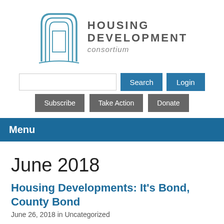[Figure (logo): Housing Development Consortium logo with stylized door/archway graphic and organization name text]
Search input field, Search button, Login button
Subscribe | Take Action | Donate buttons
Menu
June 2018
Housing Developments: It's Bond, County Bond
June 26, 2018 in Uncategorized